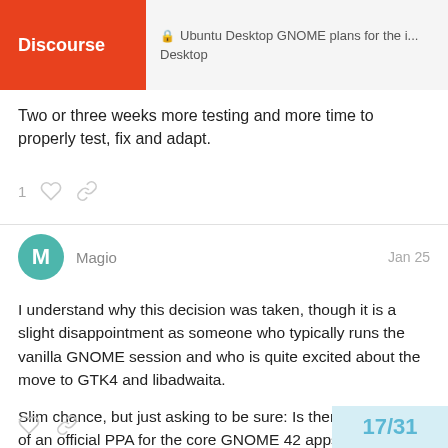Ubuntu Desktop GNOME plans for the i... Desktop
Two or three weeks more testing and more time to properly test, fix and adapt.
Magio   Jan 25
I understand why this decision was taken, though it is a slight disappointment as someone who typically runs the vanilla GNOME session and who is quite excited about the move to GTK4 and libadwaita.
Slim chance, but just asking to be sure: Is there any chance of an official PPA for the core GNOME 42 apps to be made available to the LTS users at some point after release?
17/31